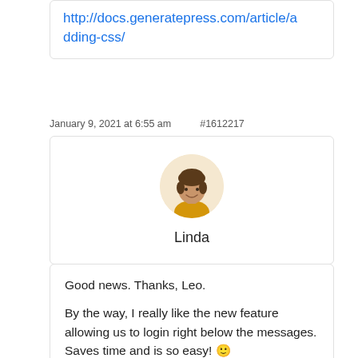http://docs.generatepress.com/article/adding-css/
January 9, 2021 at 6:55 am    #1612217
[Figure (photo): Circular avatar photo of Linda, a woman with short hair, wearing a yellow top]
Linda
Good news. Thanks, Leo.

By the way, I really like the new feature allowing us to login right below the messages. Saves time and is so easy! 🙂